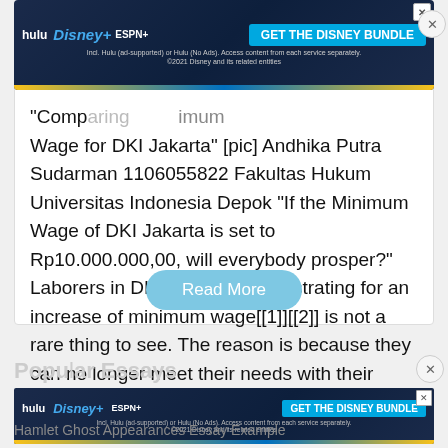[Figure (screenshot): Disney Bundle advertisement banner with Hulu, Disney+, ESPN+ logos and 'GET THE DISNEY BUNDLE' call-to-action button on dark blue background]
Analysis... "Comparing... minimum Wage for DKI Jakarta" [pic] Andhika Putra Sudarman 1106055822 Fakultas Hukum Universitas Indonesia Depok "If the Minimum Wage of DKI Jakarta is set to Rp10.000.000,00, will everybody prosper?" Laborers in DKI Jakarta demonstrating for an increase of minimum wage[[1]][[2]] is not a rare thing to see. The reason is because they can no longer meet their needs with their current wage. However, minimum wage has been…
Read More
Popu... Essays
[Figure (screenshot): Second Disney Bundle advertisement banner with Hulu, Disney+, ESPN+ logos and 'GET THE DISNEY BUNDLE' call-to-action button on dark blue background]
Hamlet Ghost Appearances Essay Example